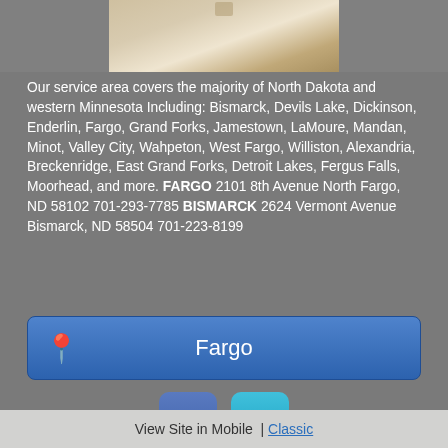[Figure (photo): Partial image of what appears to be wooden planks or flooring, shown at the top of the page]
Our service area covers the majority of North Dakota and western Minnesota Including: Bismarck, Devils Lake, Dickinson, Enderlin, Fargo, Grand Forks, Jamestown, LaMoure, Mandan, Minot, Valley City, Wahpeton, West Fargo, Williston, Alexandria, Breckenridge, East Grand Forks, Detroit Lakes, Fergus Falls, Moorhead, and more. FARGO 2101 8th Avenue North Fargo, ND 58102 701-293-7785 BISMARCK 2624 Vermont Avenue Bismarck, ND 58504 701-223-8199
[Figure (other): Blue button with map pin icon and text 'Fargo']
[Figure (other): Facebook and LinkedIn social media icon buttons]
701-223-8199
701-293-7785
Toll Free: 877-717-4733
View Site in Mobile  |  Classic